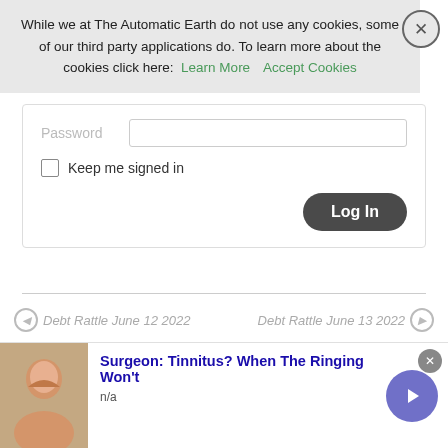While we at The Automatic Earth do not use any cookies, some of our third party applications do. To learn more about the cookies click here: Learn More   Accept Cookies
Password
Keep me signed in
Log In
◄ Debt Rattle June 12 2022
Debt Rattle June 13 2022 ►
Surgeon: Tinnitus? When The Ringing Won't
n/a